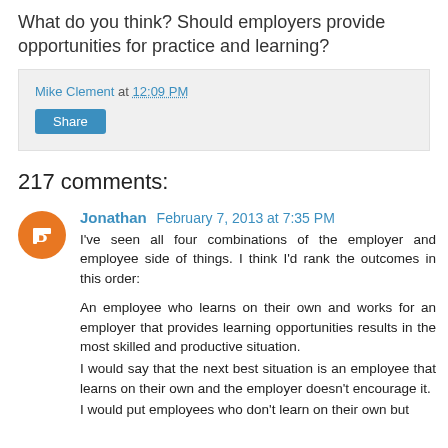What do you think?  Should employers provide opportunities for practice and learning?
Mike Clement at 12:09 PM
Share
217 comments:
Jonathan February 7, 2013 at 7:35 PM
I've seen all four combinations of the employer and employee side of things. I think I'd rank the outcomes in this order:
An employee who learns on their own and works for an employer that provides learning opportunities results in the most skilled and productive situation.
I would say that the next best situation is an employee that learns on their own and the employer doesn't encourage it.
I would put employees who don't learn on their own but